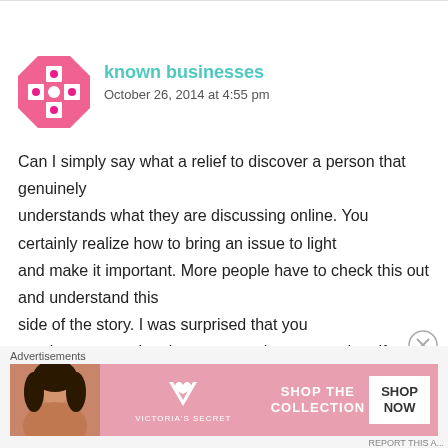[Figure (illustration): Pink decorative avatar icon with geometric cross/star pattern in hot pink]
known businesses
October 26, 2014 at 4:55 pm
Can I simply say what a relief to discover a person that genuinely understands what they are discussing online. You certainly realize how to bring an issue to light and make it important. More people have to check this out and understand this side of the story. I was surprised that you aren't more popular since you surely possess the gift.
Advertisements
[Figure (photo): Victoria's Secret advertisement banner showing a woman with curly hair, VS logo, 'SHOP THE COLLECTION' text, and 'SHOP NOW' button]